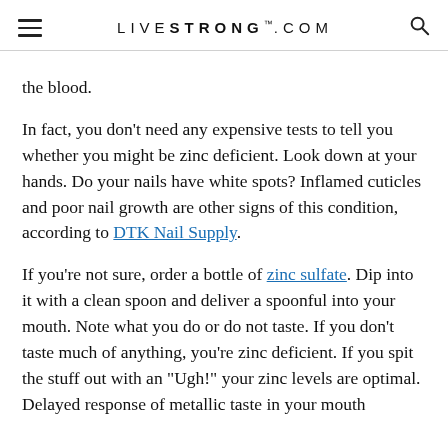LIVESTRONG.COM
the blood.
In fact, you don't need any expensive tests to tell you whether you might be zinc deficient. Look down at your hands. Do your nails have white spots? Inflamed cuticles and poor nail growth are other signs of this condition, according to DTK Nail Supply.
If you're not sure, order a bottle of zinc sulfate. Dip into it with a clean spoon and deliver a spoonful into your mouth. Note what you do or do not taste. If you don't taste much of anything, you're zinc deficient. If you spit the stuff out with an "Ugh!" your zinc levels are optimal. Delayed response of metallic taste in your mouth